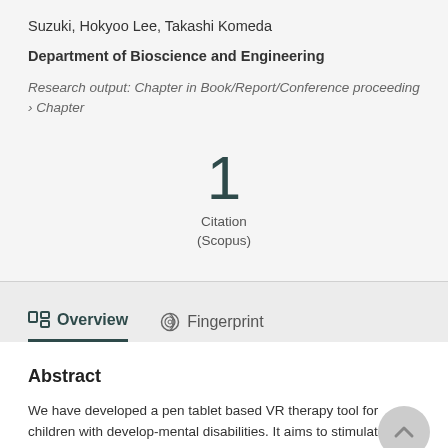Suzuki, Hokyoo Lee, Takashi Komeda
Department of Bioscience and Engineering
Research output: Chapter in Book/Report/Conference proceeding › Chapter
1
Citation
(Scopus)
Overview   Fingerprint
Abstract
We have developed a pen tablet based VR therapy tool for children with develop-mental disabilities. It aims to stimulate visual, audio and haptic sensation. It could be help for